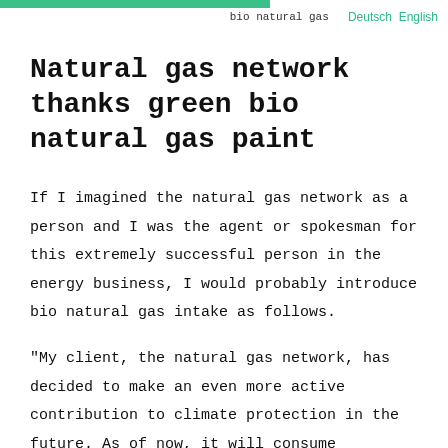gas network – plenty of space for bio natural gas  Deutsch English
Natural gas network thanks green bio natural gas paint
If I imagined the natural gas network as a person and I was the agent or spokesman for this extremely successful person in the energy business, I would probably introduce bio natural gas intake as follows.
“My client, the natural gas network, has decided to make an even more active contribution to climate protection in the future. As of now, it will consume